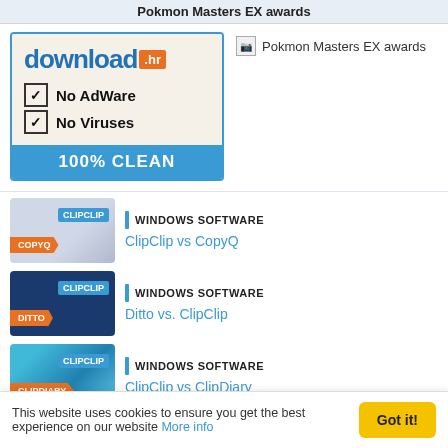Pokmon Masters EX awards
[Figure (logo): download.hr badge: No AdWare, No Viruses, 100% CLEAN]
[Figure (other): Pokmon Masters EX awards (broken image placeholder)]
[Figure (illustration): ClipClip vs CopyQ thumbnail]
WINDOWS SOFTWARE
ClipClip vs CopyQ
[Figure (illustration): Ditto vs. ClipClip thumbnail]
WINDOWS SOFTWARE
Ditto vs. ClipClip
[Figure (illustration): ClipClip vs ClipDiary thumbnail]
WINDOWS SOFTWARE
ClipClip vs ClipDiary
[Figure (photo): Bottom promotional image strip]
This website uses cookies to ensure you get the best experience on our website More info
Got it!